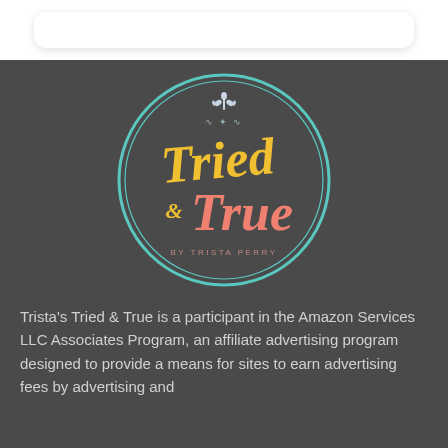[Figure (logo): Tried & True by Trista Perry circular logo with teal circle border, yellow script 'Tried' text, pink script 'True' text, ampersand, decorative fleur-de-lis ornament on dark background]
Trista's Tried & True is a participant in the Amazon Services LLC Associates Program, an affiliate advertising program designed to provide a means for sites to earn advertising fees by advertising and